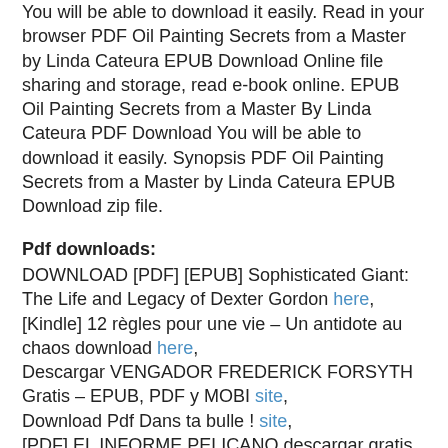You will be able to download it easily. Read in your browser PDF Oil Painting Secrets from a Master by Linda Cateura EPUB Download Online file sharing and storage, read e-book online. EPUB Oil Painting Secrets from a Master By Linda Cateura PDF Download You will be able to download it easily. Synopsis PDF Oil Painting Secrets from a Master by Linda Cateura EPUB Download zip file.
Pdf downloads:
DOWNLOAD [PDF] [EPUB] Sophisticated Giant: The Life and Legacy of Dexter Gordon here,
[Kindle] 12 règles pour une vie – Un antidote au chaos download here,
Descargar VENGADOR FREDERICK FORSYTH Gratis – EPUB, PDF y MOBI site,
Download Pdf Dans ta bulle ! site,
[PDF] EL INFORME PELICANO descargar gratis read book,
[Kindle] ZOOM. CIENTO Y PICO NOVELAS A ESCALA descargar gratis pdf,
[Pdf/ePub] Supermarket by Bobby Hall download ebook pdf,
Download PDF Firefly – The Big Damn Cookbook read book,
Download PDF Français CM1 Cycle 3 read pdf,
Download PDF Liberation read book